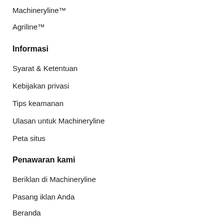Machineryline™
Agriline™
Informasi
Syarat & Ketentuan
Kebijakan privasi
Tips keamanan
Ulasan untuk Machineryline
Peta situs
Penawaran kami
Beriklan di Machineryline
Pasang iklan Anda
Beranda